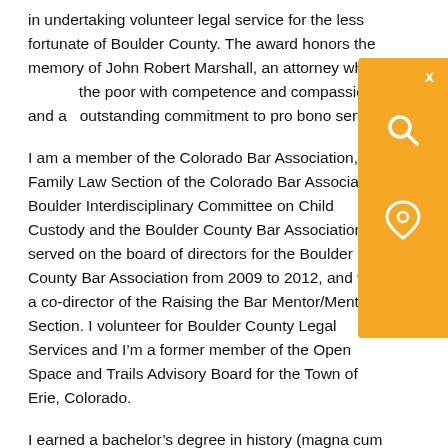in undertaking volunteer legal service for the less fortunate of Boulder County. The award honors the memory of John Robert Marshall, an attorney who served the poor with competence and compassion and an outstanding commitment to pro bono service.
I am a member of the Colorado Bar Association, the Family Law Section of the Colorado Bar Association, the Boulder Interdisciplinary Committee on Child Custody and the Boulder County Bar Association. I served on the board of directors for the Boulder County Bar Association from 2009 to 2012, and was a co-director of the Raising the Bar Mentor/Mentee Section. I volunteer for Boulder County Legal Services and I'm a former member of the Open Space and Trails Advisory Board for the Town of Erie, Colorado.
I earned a bachelor's degree in history (magna cum laude)